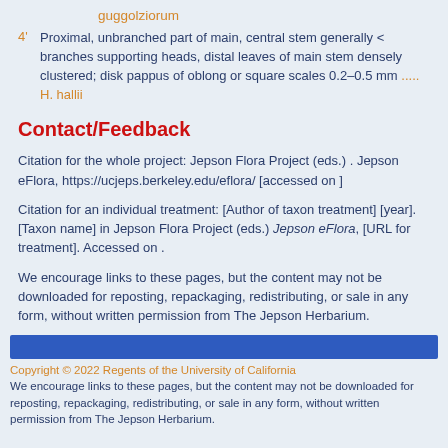guggolziorum
4' Proximal, unbranched part of main, central stem generally < branches supporting heads, distal leaves of main stem densely clustered; disk pappus of oblong or square scales 0.2–0.5 mm ..... H. hallii
Contact/Feedback
Citation for the whole project: Jepson Flora Project (eds.) . Jepson eFlora, https://ucjeps.berkeley.edu/eflora/ [accessed on ]
Citation for an individual treatment: [Author of taxon treatment] [year]. [Taxon name] in Jepson Flora Project (eds.) Jepson eFlora, [URL for treatment]. Accessed on .
We encourage links to these pages, but the content may not be downloaded for reposting, repackaging, redistributing, or sale in any form, without written permission from The Jepson Herbarium.
[Figure (other): Blue navigation bar]
Copyright © 2022 Regents of the University of California We encourage links to these pages, but the content may not be downloaded for reposting, repackaging, redistributing, or sale in any form, without written permission from The Jepson Herbarium.